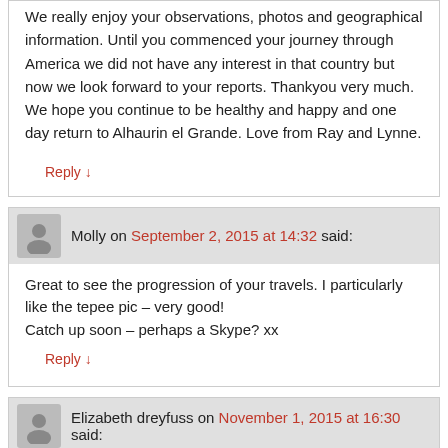We really enjoy your observations, photos and geographical information. Until you commenced your journey through America we did not have any interest in that country but now we look forward to your reports. Thankyou very much. We hope you continue to be healthy and happy and one day return to Alhaurin el Grande. Love from Ray and Lynne.
Reply ↓
Molly on September 2, 2015 at 14:32 said:
Great to see the progression of your travels. I particularly like the tepee pic – very good!
Catch up soon – perhaps a Skype? xx
Reply ↓
Elizabeth dreyfuss on November 1, 2015 at 16:30 said:
Great photos sounds like you are having fun! Vancouver is lovely drive safe! Liz and lorin
Reply ↓